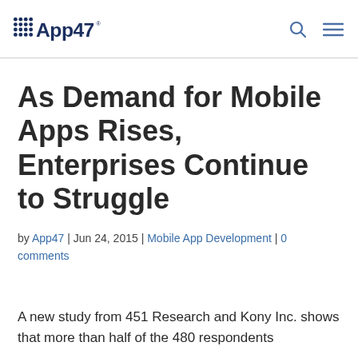App47 [logo]
As Demand for Mobile Apps Rises, Enterprises Continue to Struggle
by App47 | Jun 24, 2015 | Mobile App Development | 0 comments
A new study from 451 Research and Kony Inc. shows that more than half of the 480 respondents